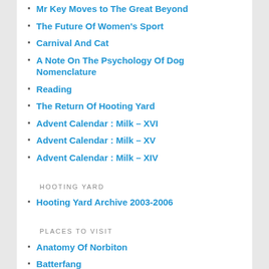Mr Key Moves to The Great Beyond
The Future Of Women's Sport
Carnival And Cat
A Note On The Psychology Of Dog Nomenclature
Reading
The Return Of Hooting Yard
Advent Calendar : Milk – XVI
Advent Calendar : Milk – XV
Advent Calendar : Milk – XIV
HOOTING YARD
Hooting Yard Archive 2003-2006
PLACES TO VISIT
Anatomy Of Norbiton
Batterfang
BibliOdyssey
BlackberryJuniper and Sherbet
Claire Harmer
David Thompson
Fed By Birds